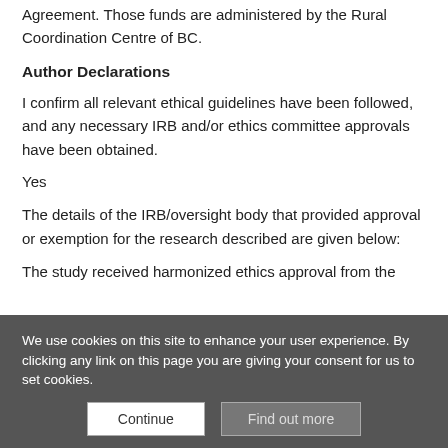Agreement. Those funds are administered by the Rural Coordination Centre of BC.
Author Declarations
I confirm all relevant ethical guidelines have been followed, and any necessary IRB and/or ethics committee approvals have been obtained.
Yes
The details of the IRB/oversight body that provided approval or exemption for the research described are given below:
The study received harmonized ethics approval from the
We use cookies on this site to enhance your user experience. By clicking any link on this page you are giving your consent for us to set cookies.